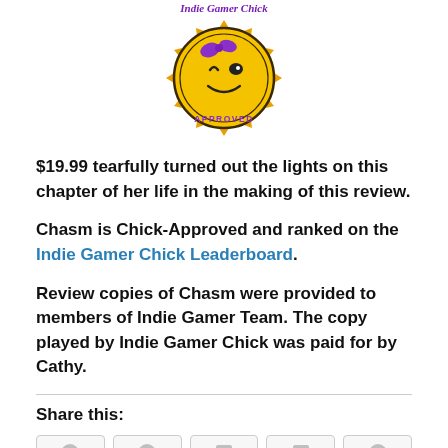[Figure (logo): Indie Gamer Chick Approved badge - circular gold gear/sun logo with a cartoon girl face wearing purple bow, purple cursive text 'Indie Gamer Chick' at top and 'APPROVED' at bottom]
$19.99 tearfully turned out the lights on this chapter of her life in the making of this review.
Chasm is Chick-Approved and ranked on the Indie Gamer Chick Leaderboard.
Review copies of Chasm were provided to members of Indie Gamer Team. The copy played by Indie Gamer Chick was paid for by Cathy.
Share this: